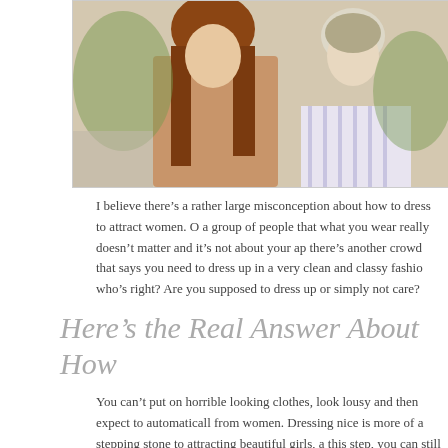[Figure (photo): A young woman with long brown hair and a man in a striped shirt, photographed outdoors, cropped at the top of the page.]
I believe there’s a rather large misconception about how to dress to attract women. O a group of people that what you wear really doesn’t matter and it’s not about your ap there’s another crowd that says you need to dress up in a very clean and classy fashio who’s right? Are you supposed to dress up or simply not care?
Here’s the Real Answer About How
You can’t put on horrible looking clothes, look lousy and then expect to automaticall from women. Dressing nice is more of a stepping stone to attracting beautiful girls, a this step, you can still get there, but with a lot more effort. It’s possible to attract beau when you’re not looking great but the whole process, especially at the earlier stages,
Any dating coach will tell you that it’s worth it to maximize your appearance and to b with the available funds that you have. Then, no matter how good you are at seductio best possible results for your level of skill. If you aren’t looking your best, then you’r difficult for yourself.